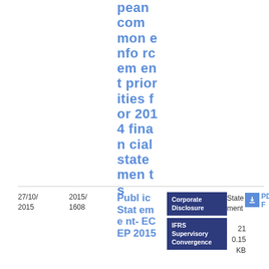pean common enforcement priorities for 2014 financial statements
| Date | Reference | Title | Tags | Type | Download |
| --- | --- | --- | --- | --- | --- |
| 27/10/2015 | 2015/1608 | Public Statement- ECEP 2015 | Corporate Disclosure, IFRS Supervisory Convergence | Statement | PDF 21 0.15 KB |